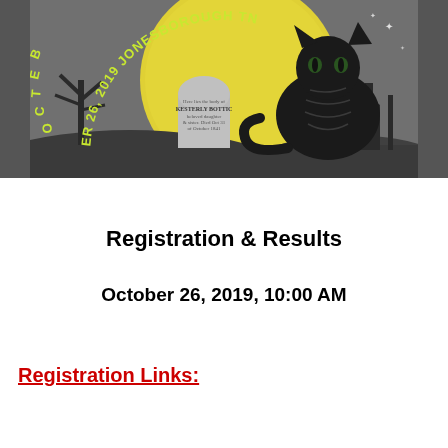[Figure (illustration): Halloween-themed illustration with a black cat, full moon, graveyard, and text reading 'October 26, 2019 Jonesborough TN' along curved arc]
Registration & Results
October 26, 2019, 10:00 AM
Registration Links: